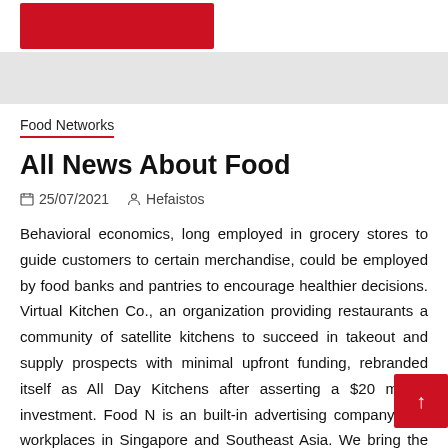[red button]
Food Networks
All News About Food
25/07/2021   Hefaistos
Behavioral economics, long employed in grocery stores to guide customers to certain merchandise, could be employed by food banks and pantries to encourage healthier decisions. Virtual Kitchen Co., an organization providing restaurants a community of satellite kitchens to succeed in takeout and supply prospects with minimal upfront funding, rebranded itself as All Day Kitchens after asserting a $20 million investment. Food N... is an built-in advertising company with workplaces in Singapore and Southeast Asia. We bring the latest and